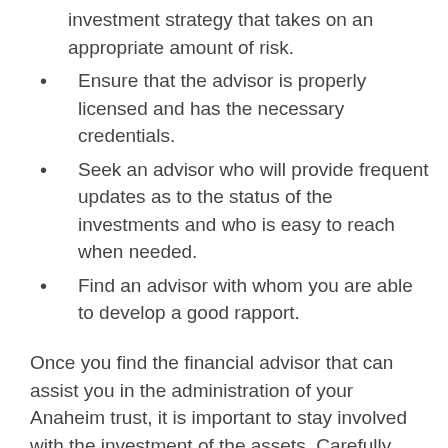investment strategy that takes on an appropriate amount of risk.
Ensure that the advisor is properly licensed and has the necessary credentials.
Seek an advisor who will provide frequent updates as to the status of the investments and who is easy to reach when needed.
Find an advisor with whom you are able to develop a good rapport.
Once you find the financial advisor that can assist you in the administration of your Anaheim trust, it is important to stay involved with the investment of the assets. Carefully review the account statements, and stay in regular communication with the investment advisor.